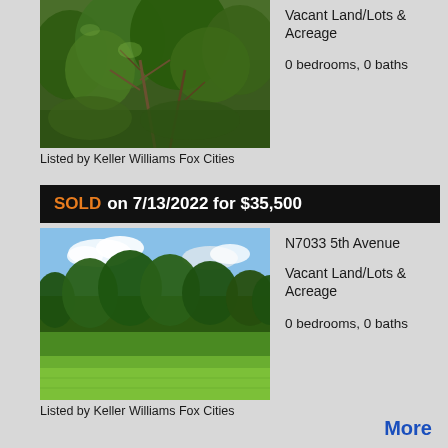[Figure (photo): Aerial or ground-level photo of wooded vacant land with dense green trees and bare branches]
Vacant Land/Lots & Acreage
0 bedrooms, 0 baths
Listed by Keller Williams Fox Cities
SOLD on 7/13/2022 for $35,500
N7033 5th Avenue
Vacant Land/Lots & Acreage
0 bedrooms, 0 baths
[Figure (photo): Photo of open green field with tree line in background under blue sky with clouds]
Listed by Keller Williams Fox Cities
More